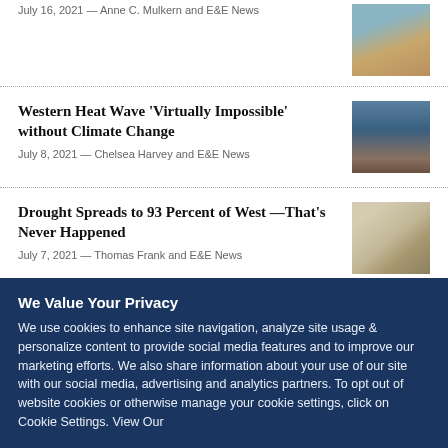Western Heat Wave 'Virtually Impossible' without Climate Change
July 8, 2021 — Chelsea Harvey and E&E News
Drought Spreads to 93 Percent of West—That's Never Happened
July 7, 2021 — Thomas Frank and E&E News
We Value Your Privacy
We use cookies to enhance site navigation, analyze site usage & personalize content to provide social media features and to improve our marketing efforts. We also share information about your use of our site with our social media, advertising and analytics partners. To opt out of website cookies or otherwise manage your cookie settings, click on Cookie Settings. View Our